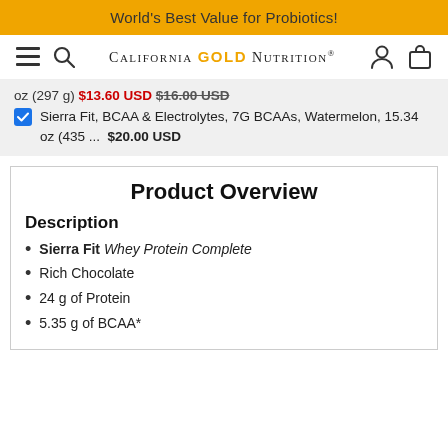World's Best Value for Probiotics!
[Figure (logo): California Gold Nutrition logo with navigation icons (hamburger menu, search, user, bag)]
oz (297 g) $13.60 USD $16.00 USD
Sierra Fit, BCAA & Electrolytes, 7G BCAAs, Watermelon, 15.34 oz (435 ... $20.00 USD
Product Overview
Description
Sierra Fit Whey Protein Complete
Rich Chocolate
24 g of Protein
5.35 g of BCAA*